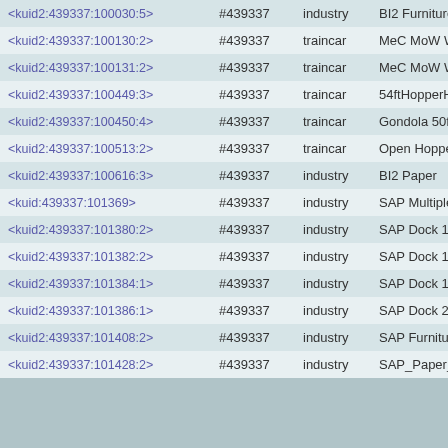| KUID | Number | Type | Name |
| --- | --- | --- | --- |
| <kuid2:439337:100030:5> | #439337 | industry | BI2 Furniture |
| <kuid2:439337:100130:2> | #439337 | traincar | MeC MoW Wreck Train Gondola |
| <kuid2:439337:100131:2> | #439337 | traincar | MeC MoW Wreck Train Gondola |
| <kuid2:439337:100449:3> | #439337 | traincar | 54ftHopperHigh3_Bay CCLE # |
| <kuid2:439337:100450:4> | #439337 | traincar | Gondola 50ft CCLE #bM |
| <kuid2:439337:100513:2> | #439337 | traincar | Open Hopper 3Bay CCLE # |
| <kuid2:439337:100616:3> | #439337 | industry | BI2 Paper |
| <kuid:439337:101369> | #439337 | industry | SAP Multiple Industry |
| <kuid2:439337:101380:2> | #439337 | industry | SAP Dock 1 Furniture |
| <kuid2:439337:101382:2> | #439337 | industry | SAP Dock 1 Paper |
| <kuid2:439337:101384:1> | #439337 | industry | SAP Dock 1 Wood |
| <kuid2:439337:101386:1> | #439337 | industry | SAP Dock 2 Bulk |
| <kuid2:439337:101408:2> | #439337 | industry | SAP Furniture Warehouse |
| <kuid2:439337:101428:2> | #439337 | industry | SAP_Paper_Mill |